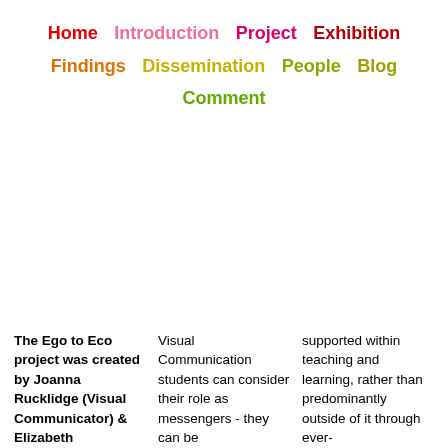Home  Introduction  Project  Exhibition  Findings  Dissemination  People  Blog  Comment
The Ego to Eco project was created by Joanna Rucklidge (Visual Communicator) & Elizabeth
Visual Communication students can consider their role as messengers - they can be
supported within teaching and learning, rather than predominantly outside of it through ever-